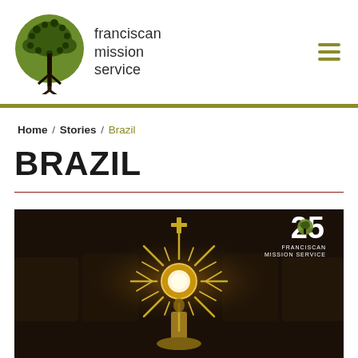[Figure (logo): Franciscan Mission Service logo: green tree circle with text 'franciscan mission service']
franciscan mission service
Home / Stories / Brazil
BRAZIL
[Figure (photo): Dark dramatic photo of a golden monstrance (Catholic liturgical sunburst vessel) glowing in a dark church interior. Top right corner shows '25 FRANCISCAN MISSION SERVICE' anniversary badge in white.]